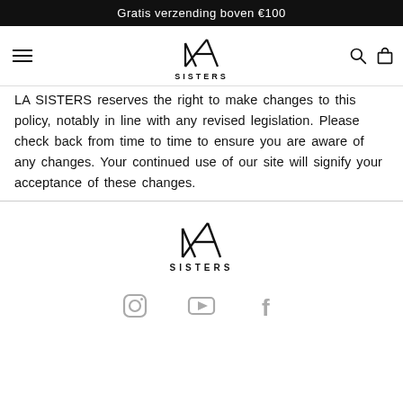Gratis verzending boven €100
[Figure (logo): LA SISTERS brand logo in navigation bar]
LA SISTERS reserves the right to make changes to this policy, notably in line with any revised legislation. Please check back from time to time to ensure you are aware of any changes. Your continued use of our site will signify your acceptance of these changes.
[Figure (logo): LA SISTERS brand logo in footer]
[Figure (other): Social media icons: Instagram, YouTube, Facebook]